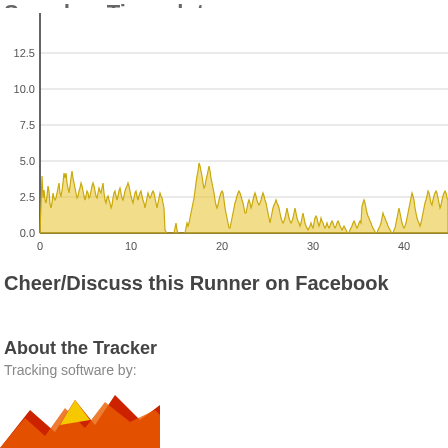Speed vs Time plot:
[Figure (area-chart): Area chart showing speed over time (0 to ~45 units on x-axis, 0 to 12.5 on y-axis). The data is dense with many fluctuations. Speed generally ranges between 1-4, with peaks around 6 early on and near the 25 mark. The chart fills with a golden/yellow color under the line.]
Cheer/Discuss this Runner on Facebook
About the Tracker
Tracking software by:
[Figure (logo): Partial logo visible at bottom - red and orange angular shapes with a yellow star element]